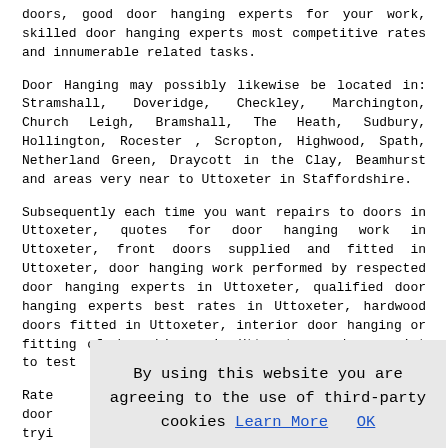doors, good door hanging experts for your work, skilled door hanging experts most competitive rates and innumerable related tasks.
Door Hanging may possibly likewise be located in: Stramshall, Doveridge, Checkley, Marchington, Church Leigh, Bramshall, The Heath, Sudbury, Hollington, Rocester , Scropton, Highwood, Spath, Netherland Green, Draycott in the Clay, Beamhurst and areas very near to Uttoxeter in Staffordshire.
Subsequently each time you want repairs to doors in Uttoxeter, quotes for door hanging work in Uttoxeter, front doors supplied and fitted in Uttoxeter, door hanging work performed by respected door hanging experts in Uttoxeter, qualified door hanging experts best rates in Uttoxeter, hardwood doors fitted in Uttoxeter, interior door hanging or fitting of door hinges in Uttoxeter, make a point to test
Rate
door
tryi
More
Doo
Doo
Door Hanging in Blunsdon
By using this website you are agreeing to the use of third-party cookies Learn More  OK